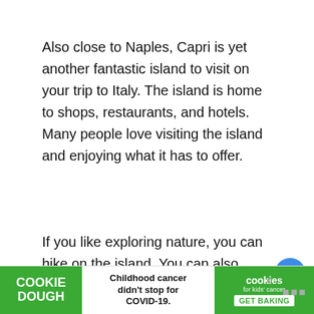Also close to Naples, Capri is yet another fantastic island to visit on your trip to Italy. The island is home to shops, restaurants, and hotels. Many people love visiting the island and enjoying what it has to offer.
If you like exploring nature, you can hike on the island. You can also take a boat ride around the island to explore the waters and view the coastline.
13. Salina
[Figure (infographic): Ad banner: Cookie Dough brand. Text reads 'Childhood cancer didn't stop for COVID-19.' with cookies for kids cancer logo and GET BAKING button.]